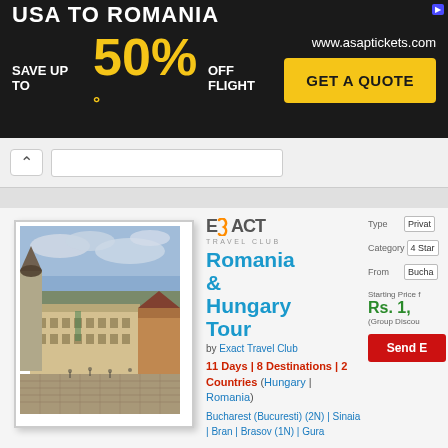[Figure (screenshot): Advertisement banner for ASAP Tickets: 'USA TO ROMANIA - SAVE UP TO 50% OFF FLIGHT' with GET A QUOTE button and www.asaptickets.com URL]
[Figure (screenshot): Travel listing screenshot showing Exact Travel Club logo, Romania & Hungary Tour package details, 11 Days 8 Destinations 2 Countries, starting price Rs.1,XXXXX, with booking fields for Type (Private), Category (4 Star), From (Bucharest)]
[Figure (photo): Photo of a European city square (Sibiu, Romania) with historic buildings, church towers, and cobblestone plaza]
Romania & Hungary Tour
by Exact Travel Club
11 Days | 8 Destinations | 2 Countries (Hungary | Romania)
Bucharest (Bucuresti) (2N) | Sinaia | Bran | Brasov (1N) | Gura